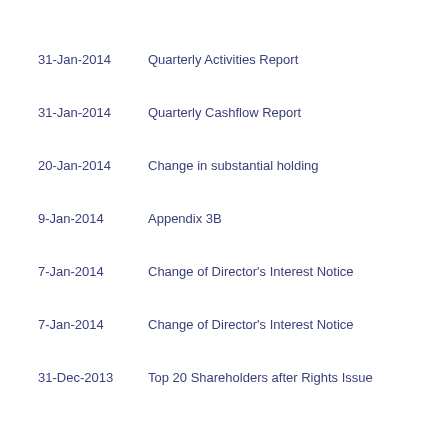31-Jan-2014   Quarterly Activities Report
31-Jan-2014   Quarterly Cashflow Report
20-Jan-2014   Change in substantial holding
9-Jan-2014    Appendix 3B
7-Jan-2014    Change of Director's Interest Notice
7-Jan-2014    Change of Director's Interest Notice
31-Dec-2013   Top 20 Shareholders after Rights Issue